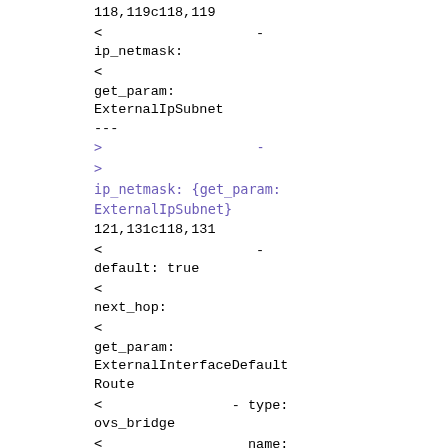118,119c118,119
<                    -
ip_netmask:
<
get_param:
ExternalIpSubnet
---
>                    -
>
ip_netmask: {get_param:
ExternalIpSubnet}
121,131c118,131
<                    -
default: true
<
next_hop:
<
get_param:
ExternalInterfaceDefault
Route
<                - type:
ovs_bridge
<                  name:
br-infra
<
use_dhcp: false
<
addresses:
<                    -
ip_netmask: